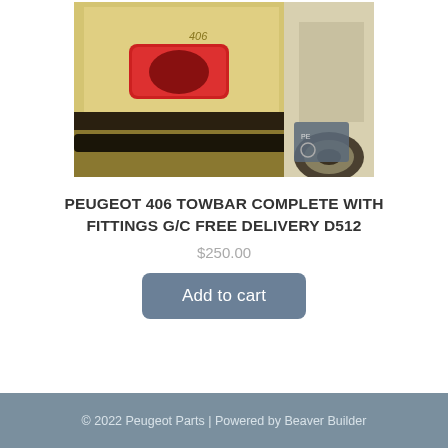[Figure (photo): Rear view of a Peugeot 406 car in yellow/cream color, showing the taillight and rear bumper area. Another car is partially visible to the right. A Peugeot logo sign is visible in the background.]
PEUGEOT 406 TOWBAR COMPLETE WITH FITTINGS G/C FREE DELIVERY D512
$250.00
© 2022 Peugeot Parts | Powered by Beaver Builder